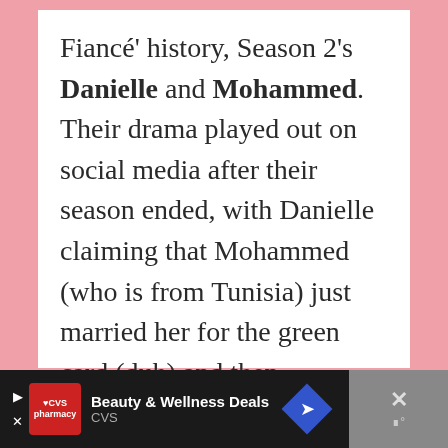Fiancé' history, Season 2's Danielle and Mohammed. Their drama played out on social media after their season ended, with Danielle claiming that Mohammed (who is from Tunisia) just married her for the green card (duh) and then immediately took up with other women.
[Figure (screenshot): Advertisement banner for CVS pharmacy: Beauty & Wellness Deals]